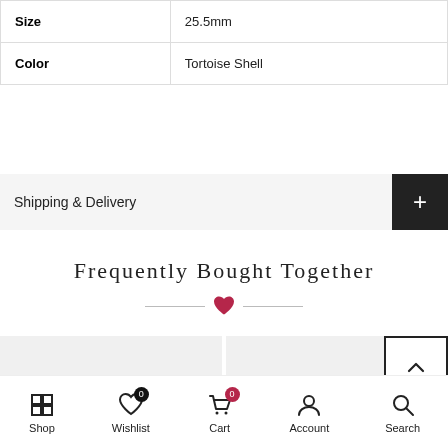| Size | 25.5mm |
| Color | Tortoise Shell |
Shipping & Delivery
Frequently Bought Together
[Figure (illustration): Heart divider decoration with horizontal lines on each side]
[Figure (photo): Two product thumbnail image placeholders (light gray)]
Shop  Wishlist 0  Cart 0  Account  Search